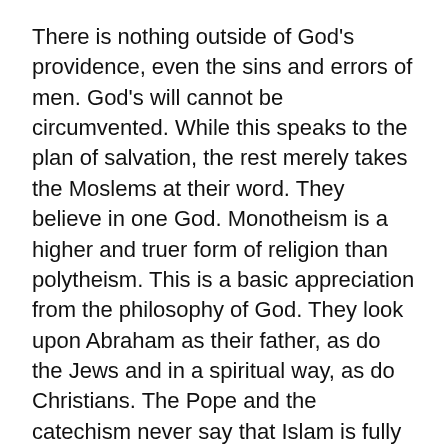There is nothing outside of God's providence, even the sins and errors of men. God's will cannot be circumvented. While this speaks to the plan of salvation, the rest merely takes the Moslems at their word. They believe in one God. Monotheism is a higher and truer form of religion than polytheism. This is a basic appreciation from the philosophy of God. They look upon Abraham as their father, as do the Jews and in a spiritual way, as do Christians. The Pope and the catechism never say that Islam is fully a true religion. Such can be said for Catholic Christianity and for Judaism. All that is good in Judaism is embraced by the Church. Salvation comes from the Jews.
Moslems believe that God the Creator is the one true God who must be adored. They also believe that God is merciful and the final judge of all. Their religion has many aspects, but there are special points concerning...